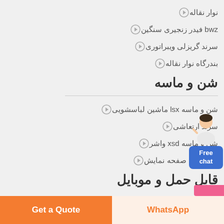نوار نقاله
bwz فیدر زنجیری سنگین
سرند گریزلی ویبراتوری
بندرگاه نوار نقاله
شن و ماسه
شن و ماسه lsx ماشین لباسشویی
سرند ارتعاشی
شن و ماسه xsd واشر
یکن ویبره صفحه نمایش
قابل حمل و موبایل
Free chat
Get a Quote
WhatsApp